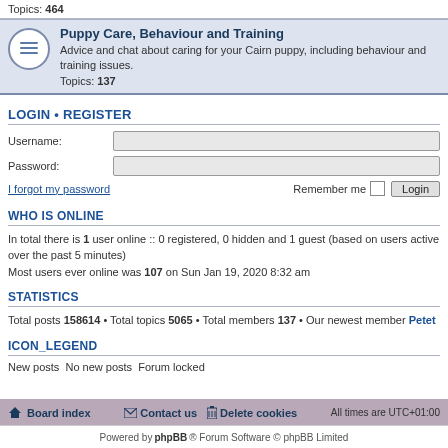Topics: 464
Puppy Care, Behaviour and Training
Advice and chat about caring for your Cairn puppy, including behaviour and training issues.
Topics: 137
LOGIN • REGISTER
Username:
Password:
I forgot my password
Remember me  Login
WHO IS ONLINE
In total there is 1 user online :: 0 registered, 0 hidden and 1 guest (based on users active over the past 5 minutes)
Most users ever online was 107 on Sun Jan 19, 2020 8:32 am
STATISTICS
Total posts 158614 • Total topics 5065 • Total members 137 • Our newest member Petet
ICON_LEGEND
New posts  No new posts  Forum locked
Board index   Contact us   Delete cookies   All times are UTC+01:00
Powered by phpBB® Forum Software © phpBB Limited